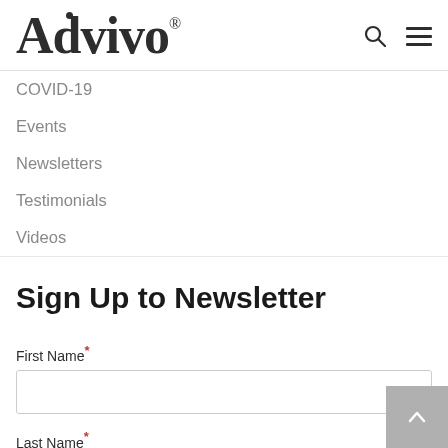Advivo®
COVID-19
Events
Newsletters
Testimonials
Videos
Sign Up to Newsletter
First Name*
Last Name*